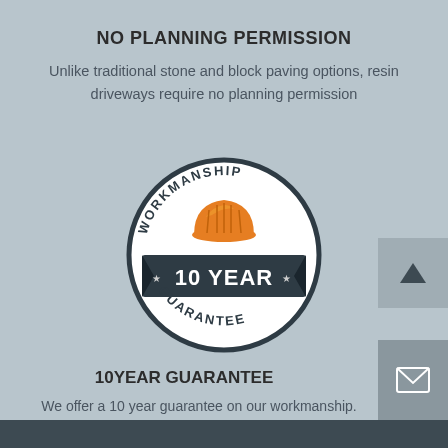NO PLANNING PERMISSION
Unlike traditional stone and block paving options, resin driveways require no planning permission
[Figure (illustration): Circular badge/seal with 'WORKMANSHIP' text around the top, an orange hard hat icon, a dark banner ribbon in the middle reading '10 YEAR' with stars on either side, and 'GUARANTEE' text around the bottom. Dark navy/charcoal color scheme with white text.]
10YEAR GUARANTEE
We offer a 10 year guarantee on our workmanship.